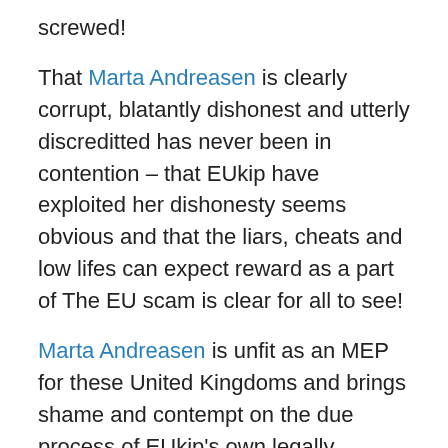screwed!
That Marta Andreasen is clearly corrupt, blatantly dishonest and utterly discreditted has never been in contention – that EUkip have exploited her dishonesty seems obvious and that the liars, cheats and low lifes can expect reward as a part of The EU scam is clear for all to see!
Marta Andreasen is unfit as an MEP for these United Kingdoms and brings shame and contempt on the due process of EUkip's own legally constituted rules and so called Constitution. It is clear that EUkip lack the moral compass to find their way home let alone lead anyone forward!
TO LEAVE THE EU